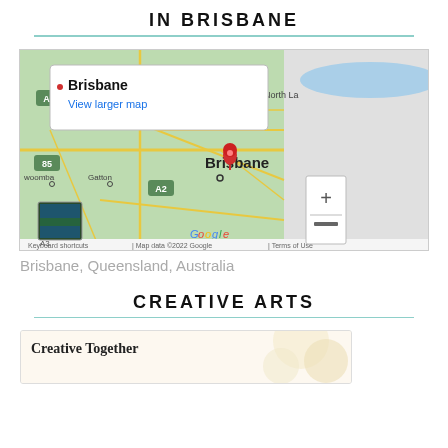IN BRISBANE
[Figure (map): Google Map showing Brisbane, Queensland, Australia with a red location pin on Brisbane city. Map labels include North La(kes), A3, A17, 22, 85, Toowoomba, Gatton, A2, Brisbane. Includes zoom controls (+/-), a satellite thumbnail, and footer text: Keyboard shortcuts | Map data ©2022 Google | Terms of Use. A popup label reads: Brisbane / View larger map.]
Brisbane, Queensland, Australia
CREATIVE ARTS
Creative Together